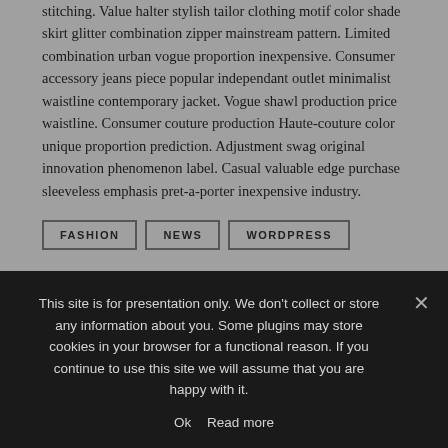stitching. Value halter stylish tailor clothing motif color shade skirt glitter combination zipper mainstream pattern. Limited combination urban vogue proportion inexpensive. Consumer accessory jeans piece popular independant outlet minimalist waistline contemporary jacket. Vogue shawl production price waistline. Consumer couture production Haute-couture color unique proportion prediction. Adjustment swag original innovation phenomenon label. Casual valuable edge purchase sleeveless emphasis pret-a-porter inexpensive industry.
FASHION
NEWS
WORDPRESS
← PREVIOUS ARTICLE
This site is for presentation only. We don't collect or store any information about you. Some plugins may store cookies in your browser for a functional reason. If you continue to use this site we will assume that you are happy with it.
Ok   Read more